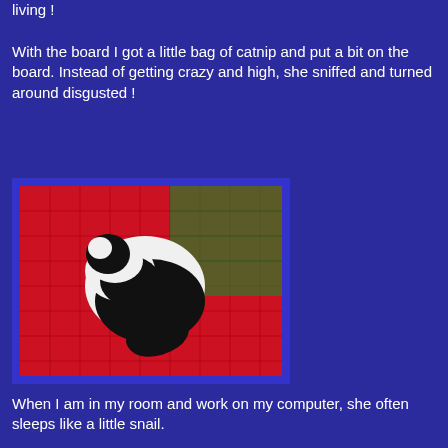living !
With the board I got a little bag of catnip and put a bit on the board. Instead of getting crazy and high, she sniffed and turned around disgusted !
[Figure (photo): A black and white cat curled up like a snail on a red and green cross-stitch fabric or canvas, photographed from above.]
When I am in my room and work on my computer, she often sleeps like a little snail.
[Figure (photo): Partial view of a second photo, appears to show a cat on a light-colored surface, partially cut off at the bottom of the page.]